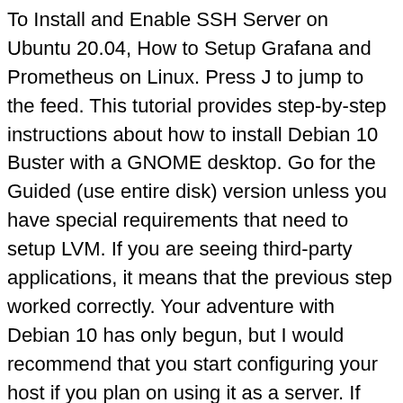To Install and Enable SSH Server on Ubuntu 20.04, How to Setup Grafana and Prometheus on Linux. Press J to jump to the feed. This tutorial provides step-by-step instructions about how to install Debian 10 Buster with a GNOME desktop. Go for the Guided (use entire disk) version unless you have special requirements that need to setup LVM. If you are seeing third-party applications, it means that the previous step worked correctly. Your adventure with Debian 10 has only begun, but I would recommend that you start configuring your host if you plan on using it as a server. If you are happy with the partitioning, simply press the “Finish partitioning and write changes to disk” option. This guide provides steps to install Gnome desktop and TightVNC on a Debian 7 VPS. Debian 10 Buster will start configuring apt and will try to install the GRUB boot loader on your instance. eval(ez_write_tag([[728,90],'devconnected_com-box-4','ezslot_19',105,'0','0']));The distribution images are located here. https://extensions.gnome.org/ GNOME Extensions, https://extensions.gnome.org/ GNOME Applications